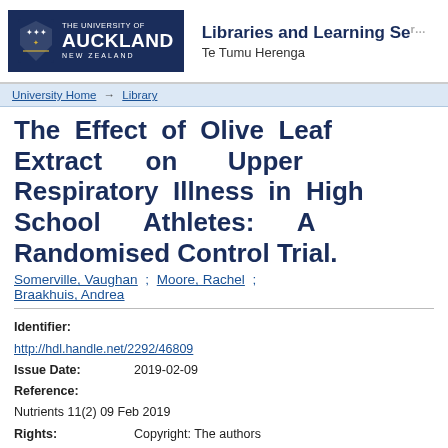[Figure (logo): University of Auckland logo with shield and text, Libraries and Learning Services Te Tumu Herenga header]
University Home → Library
The Effect of Olive Leaf Extract on Upper Respiratory Illness in High School Athletes: A Randomised Control Trial.
Somerville, Vaughan ; Moore, Rachel ; Braakhuis, Andrea
Identifier:
http://hdl.handle.net/2292/46809
Issue Date: 2019-02-09
Reference:
Nutrients 11(2) 09 Feb 2019
Rights: Copyright: The authors